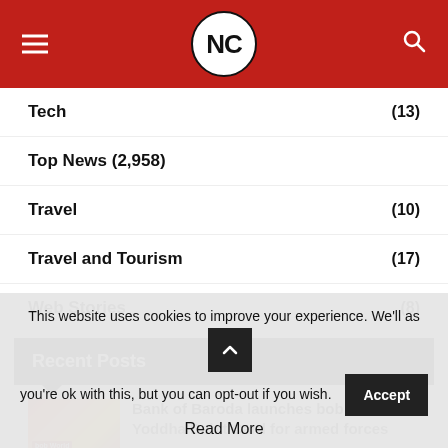NC
Tech (13)
Top News (2,958)
Travel (10)
Travel and Tourism (17)
Web Stories (8)
Recent Posts
Bank of Baroda launches bob World Yoddha Debit Card for armed forces
This website uses cookies to improve your experience. We'll assume you're ok with this, but you can opt-out if you wish. Accept
Read More